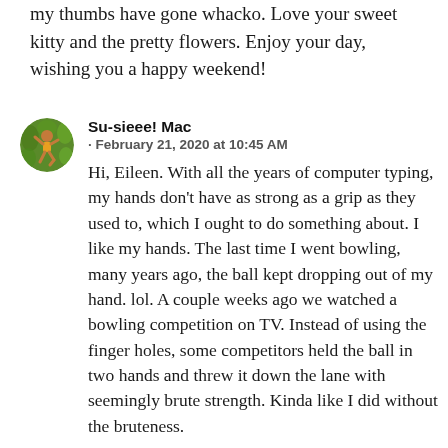my thumbs have gone whacko. Love your sweet kitty and the pretty flowers. Enjoy your day, wishing you a happy weekend!
[Figure (illustration): Round avatar image of a person (child/figure) jumping, on a green leafy background]
Su-sieee! Mac
· February 21, 2020 at 10:45 AM
Hi, Eileen. With all the years of computer typing, my hands don't have as strong as a grip as they used to, which I ought to do something about. I like my hands. The last time I went bowling, many years ago, the ball kept dropping out of my hand. lol. A couple weeks ago we watched a bowling competition on TV. Instead of using the finger holes, some competitors held the ball in two hands and threw it down the lane with seemingly brute strength. Kinda like I did without the bruteness.